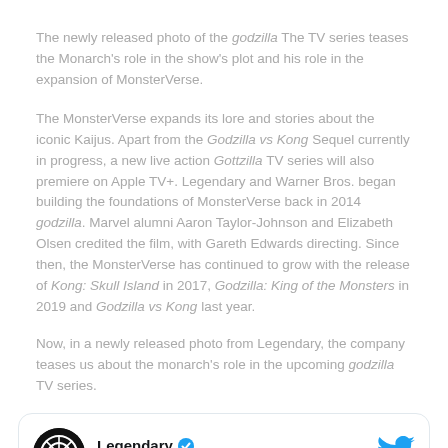The newly released photo of the godzilla The TV series teases the Monarch's role in the show's plot and his role in the expansion of MonsterVerse.
The MonsterVerse expands its lore and stories about the iconic Kaijus. Apart from the Godzilla vs Kong Sequel currently in progress, a new live action Gottzilla TV series will also premiere on Apple TV+. Legendary and Warner Bros. began building the foundations of MonsterVerse back in 2014 godzilla. Marvel alumni Aaron Taylor-Johnson and Elizabeth Olsen credited the film, with Gareth Edwards directing. Since then, the MonsterVerse has continued to grow with the release of Kong: Skull Island in 2017, Godzilla: King of the Monsters in 2019 and Godzilla vs Kong last year.
Now, in a newly released photo from Legendary, the company teases us about the monarch's role in the upcoming godzilla TV series.
[Figure (screenshot): Twitter/X card showing Legendary's account with logo, verified checkmark, @Legendary handle and Follow link, and Twitter bird icon.]